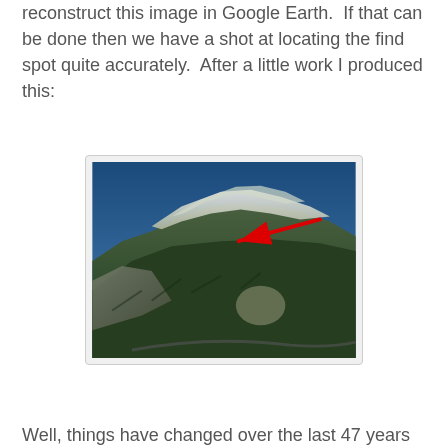reconstruct this image in Google Earth.  If that can be done then we have a shot at locating the find spot quite accurately.  After a little work I produced this:
[Figure (photo): Google Earth 3D view of a snow-capped mountain with green forest slopes. A red arrow/line points to a specific location on the upper slope, indicating a find spot.]
Well, things have changed over the last 47 years